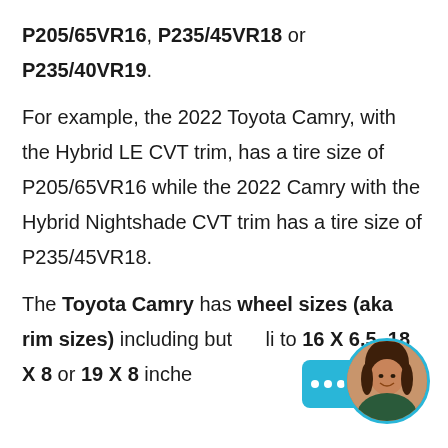P205/65VR16, P235/45VR18 or P235/40VR19. For example, the 2022 Toyota Camry, with the Hybrid LE CVT trim, has a tire size of P205/65VR16 while the 2022 Camry with the Hybrid Nightshade CVT trim has a tire size of P235/45VR18. The Toyota Camry has wheel sizes (aka rim sizes) including but not limited to 16 X 6.5, 18 X 8 or 19 X 8 inches
[Figure (other): Chat widget icon (teal/cyan rounded rectangle with three dots and arrow) and circular avatar photo of a woman, partially overlapping the text at the bottom right corner]